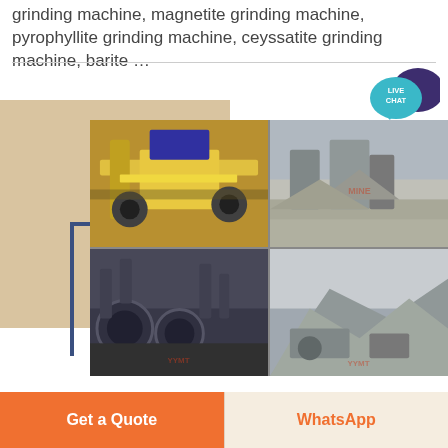grinding machine, magnetite grinding machine, pyrophyllite grinding machine, ceyssatite grinding machine, barite …
[Figure (photo): Live Chat button icon — teal speech bubble with 'LIVE CHAT' text and dark purple overlapping bubble]
[Figure (photo): 2x2 grid of industrial machinery photos: top-left shows yellow magnetic separator equipment indoors, top-right shows outdoor stone crushing plant with conveyors and aggregate piles, bottom-left shows industrial ball mills or grinding equipment with chimneys, bottom-right shows outdoor quarry/crushing facility on a hillside]
Get a Quote
WhatsApp